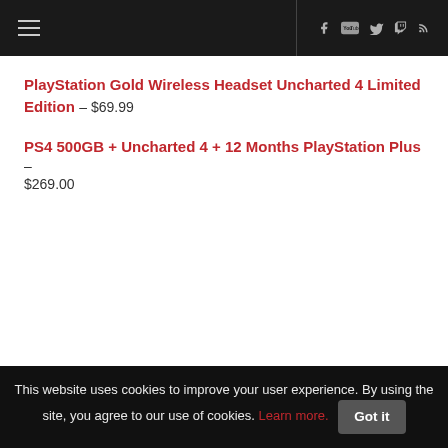Navigation bar with hamburger menu and social icons (Facebook, YouTube, Twitter, Twitch, RSS)
PlayStation Gold Wireless Headset Uncharted 4 Limited Edition – $69.99
PS4 500GB + Uncharted 4 + 12 Months PlayStation Plus – $269.00
This website uses cookies to improve your user experience. By using the site, you agree to our use of cookies. Learn more. Got it